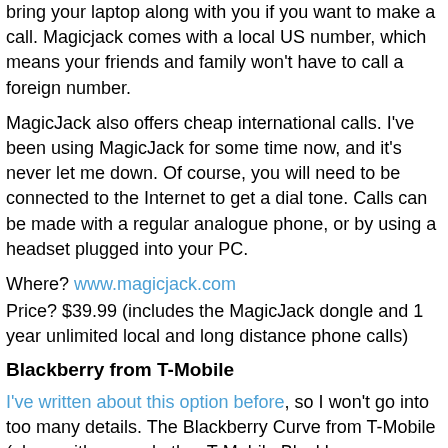bring your laptop along with you if you want to make a call. Magicjack comes with a local US number, which means your friends and family won't have to call a foreign number.
MagicJack also offers cheap international calls. I've been using MagicJack for some time now, and it's never let me down. Of course, you will need to be connected to the Internet to get a dial tone. Calls can be made with a regular analogue phone, or by using a headset plugged into your PC.
Where? www.magicjack.com
Price? $39.99 (includes the MagicJack dongle and 1 year unlimited local and long distance phone calls)
Blackberry from T-Mobile
I've written about this option before, so I won't go into too many details. The Blackberry Curve from T-Mobile (along with several other T-Mobile Blackberry smartphones with Wi-Fi) have the ability to roam onto Wi-Fi instead of a foreign mobile network. As long as you can get online, you'll be able to make